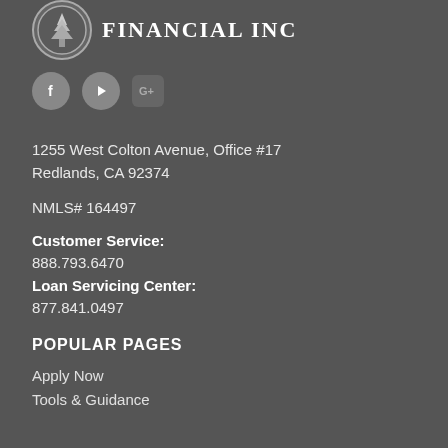[Figure (logo): Company logo with circular tree emblem and 'Financial Inc' text]
[Figure (illustration): Social media icons: Facebook (circle with f), YouTube (circle with play button), Google+ (rounded square with G+)]
1255 West Colton Avenue, Office #17
Redlands, CA 92374
NMLS# 164497
Customer Service:
888.793.6470
Loan Servicing Center:
877.841.0497
POPULAR PAGES
Apply Now
Tools & Guidance